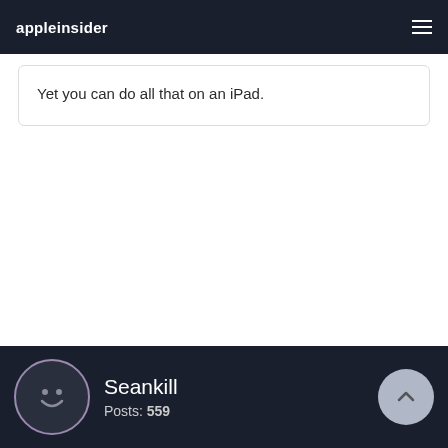appleinsider
Yet you can do all that on an iPad.
Seankill
Posts: 559